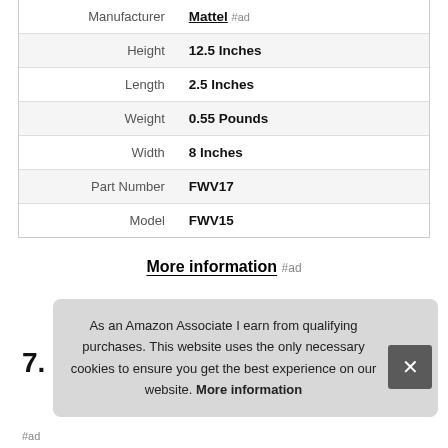| Attribute | Value |
| --- | --- |
| Manufacturer | Mattel #ad |
| Height | 12.5 Inches |
| Length | 2.5 Inches |
| Weight | 0.55 Pounds |
| Width | 8 Inches |
| Part Number | FWV17 |
| Model | FWV15 |
More information #ad
7.
As an Amazon Associate I earn from qualifying purchases. This website uses the only necessary cookies to ensure you get the best experience on our website. More information
#ad